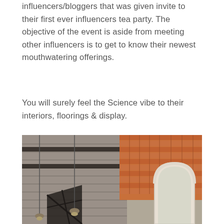influencers/bloggers that was given invite to their first ever influencers tea party. The objective of the event is aside from meeting other influencers is to get to know their newest mouthwatering offerings.
You will surely feel the Science vibe to their interiors, floorings & display.
[Figure (photo): Interior photo showing exposed brick wall in warm orange/terracotta tones, dark metal ceiling beams and structural trusses, an arched white-framed window on the right, and hanging industrial pendant lamps, giving a rustic industrial ambiance.]